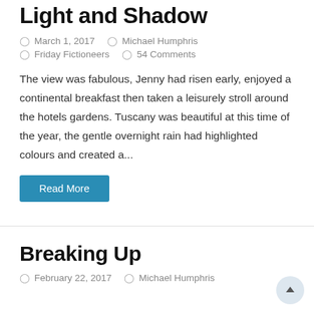Light and Shadow
March 1, 2017   Michael Humphris   Friday Fictioneers   54 Comments
The view was fabulous, Jenny had risen early, enjoyed a continental breakfast then taken a leisurely stroll around the hotels gardens. Tuscany was beautiful at this time of the year, the gentle overnight rain had highlighted colours and created a...
Read More
Breaking Up
February 22, 2017   Michael Humphris